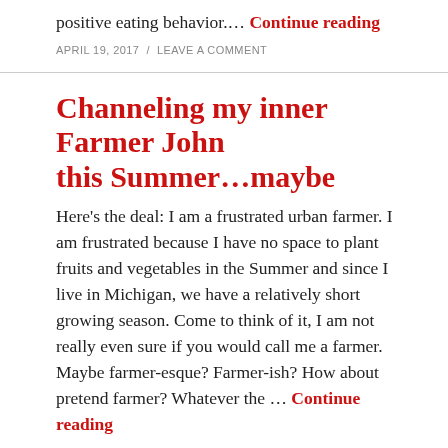positive eating behavior.… Continue reading
APRIL 19, 2017  /  LEAVE A COMMENT
Channeling my inner Farmer John this Summer…maybe
Here's the deal: I am a frustrated urban farmer. I am frustrated because I have no space to plant fruits and vegetables in the Summer and since I live in Michigan, we have a relatively short growing season. Come to think of it, I am not really even sure if you would call me a farmer. Maybe farmer-esque? Farmer-ish? How about pretend farmer? Whatever the … Continue reading
APRIL 15, 2017  /  LEAVE A COMMENT